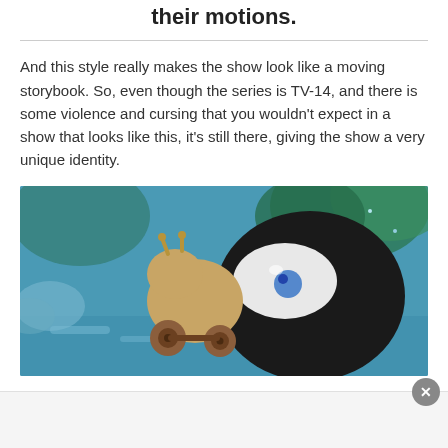their motions.
And this style really makes the show look like a moving storybook. So, even though the series is TV-14, and there is some violence and cursing that you wouldn't expect in a show that looks like this, it's still there, giving the show a very unique identity.
[Figure (screenshot): Anime screenshot showing a cartoon snail-like creature (tan/brown color on wheels) next to a large black circular shape with a white oval eye with a blue pupil, set against a blue forest background.]